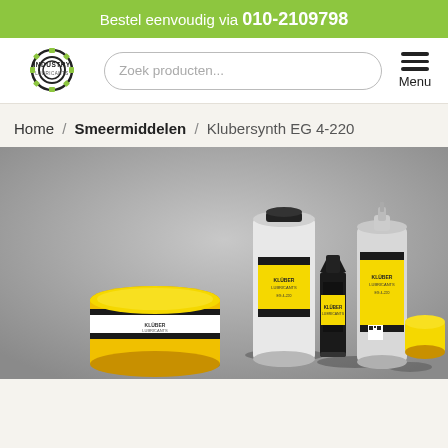Bestel eenvoudig via 010-2109798
[Figure (logo): Industry Lubricants gear logo with text INDUSTRY LUBRICANTS]
Zoek producten...
Menu
Home / Smeermiddelen / Klubersynth EG 4-220
[Figure (photo): Product photo showing multiple Klueber lubricant containers in yellow and black packaging: a large round tub, a tin can, a tube, an aerosol spray can, and a cylindrical container lid, all on grey background]